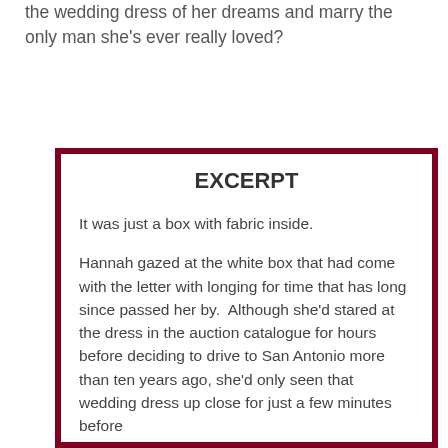the wedding dress of her dreams and marry the only man she's ever really loved?
EXCERPT
It was just a box with fabric inside.
Hannah gazed at the white box that had come with the letter with longing for time that has long since passed her by.  Although she'd stared at the dress in the auction catalogue for hours before deciding to drive to San Antonio more than ten years ago, she'd only seen that wedding dress up close for just a few minutes before